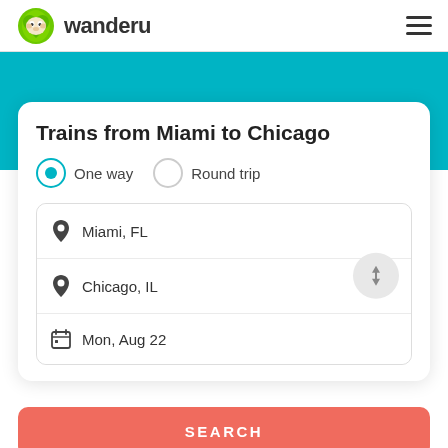wanderu
Trains from Miami to Chicago
One way   Round trip
Miami, FL
Chicago, IL
Mon, Aug 22
SEARCH